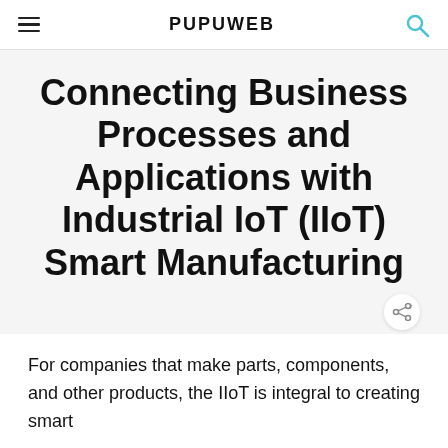PUPUWEB
Connecting Business Processes and Applications with Industrial IoT (IIoT) Smart Manufacturing
For companies that make parts, components, and other products, the IIoT is integral to creating smart